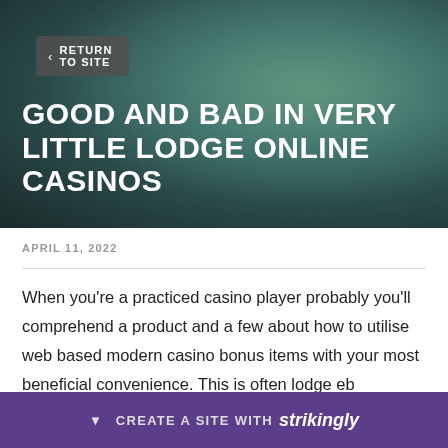[Figure (photo): Dark teal/green blurred gradient hero background image]
< RETURN TO SITE
GOOD AND BAD IN VERY LITTLE LODGE ONLINE CASINOS
APRIL 11, 2022
When you're a practiced casino player probably you'll comprehend a product and a few about how to utilise web based modern casino bonus items with your most beneficial convenience. This is often lodge eb
CREATE A SITE WITH strikingly